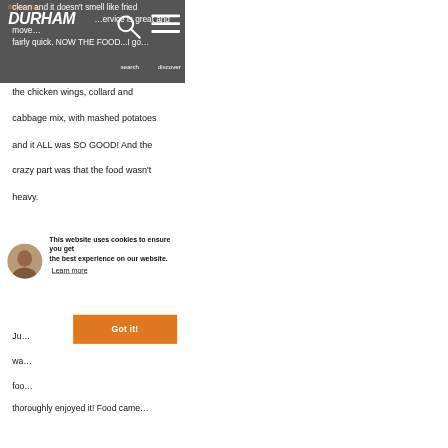Discover Durham — navigation header with logo, search and discover icons
clean and it doesn't smell like fried …service is great and move… fairly quick. NOW THE FOOD...I go… the chicken wings, collard and cabbage mix, with mashed potatoes and it ALL was SO GOOD! And the crazy part was that the food wasn't heavy.
[Figure (photo): Circular avatar photo of a person]
This website uses cookies to ensure you get the best experience on our website. Learn more
Got it!
Ju… wa… foo… thoroughly enjoyed it! Food came…